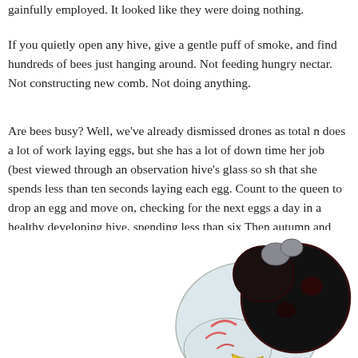gainfully employed. It looked like they were doing nothing.
If you quietly open any hive, give a gentle puff of smoke, and find hundreds of bees just hanging around. Not feeding hungry nectar. Not constructing new comb. Not doing anything.
Are bees busy? Well, we've already dismissed drones as total does a lot of work laying eggs, but she has a lot of down time her job (best viewed through an observation hive's glass so sh that she spends less than ten seconds laying each egg. Count to the queen to drop an egg and move on, checking for the next eggs a day in a healthy developing hive, spending less than six Then autumn and winter come and she has even less to do. Th little better than many office workers.
[Figure (illustration): Illustration of bee anatomy showing close-up of bee head/face with large dark compound eyes and colorful markings including pink and yellow details]